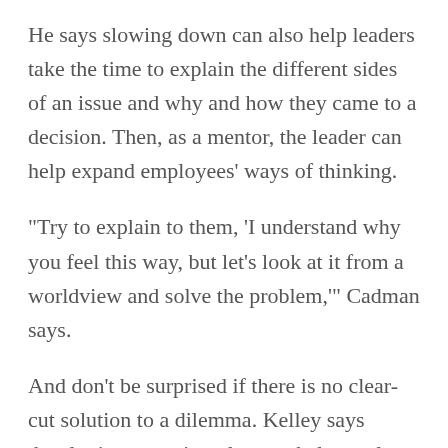He says slowing down can also help leaders take the time to explain the different sides of an issue and why and how they came to a decision. Then, as a mentor, the leader can help expand employees' ways of thinking.
"Try to explain to them, 'I understand why you feel this way, but let's look at it from a worldview and solve the problem,'" Cadman says.
And don't be surprised if there is no clear-cut solution to a dilemma. Kelley says developing an action plan can help resolve the issue quickly and efficiently. "Think about the consequences of the moral issue at